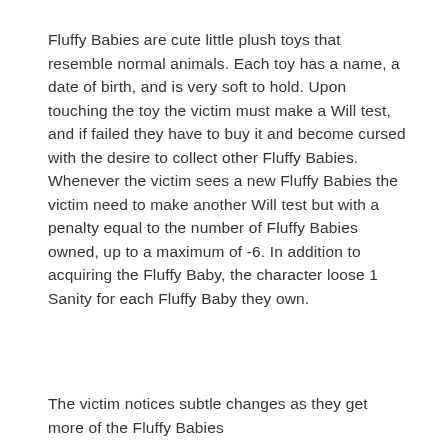Fluffy Babies are cute little plush toys that resemble normal animals. Each toy has a name, a date of birth, and is very soft to hold. Upon touching the toy the victim must make a Will test, and if failed they have to buy it and become cursed with the desire to collect other Fluffy Babies. Whenever the victim sees a new Fluffy Babies the victim need to make another Will test but with a penalty equal to the number of Fluffy Babies owned, up to a maximum of -6. In addition to acquiring the Fluffy Baby, the character loose 1 Sanity for each Fluffy Baby they own.
The victim notices subtle changes as they get more of the Fluffy Babies...